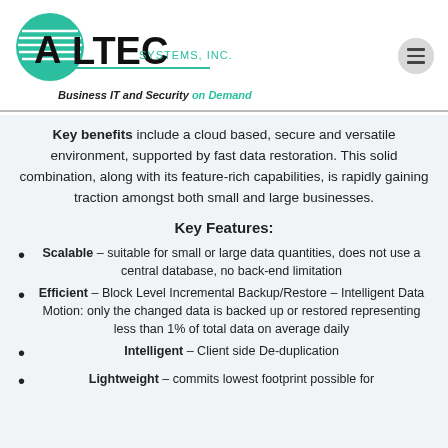[Figure (logo): ALTEC Systems, Inc. logo with green circle graphic and tagline 'Business IT and Security on Demand']
Key benefits include a cloud based, secure and versatile environment, supported by fast data restoration. This solid combination, along with its feature-rich capabilities, is rapidly gaining traction amongst both small and large businesses.
Key Features:
Scalable – suitable for small or large data quantities, does not use a central database, no back-end limitation
Efficient – Block Level Incremental Backup/Restore – Intelligent Data Motion: only the changed data is backed up or restored representing less than 1% of total data on average daily
Intelligent – Client side De-duplication
Lightweight – commits lowest footprint possible for